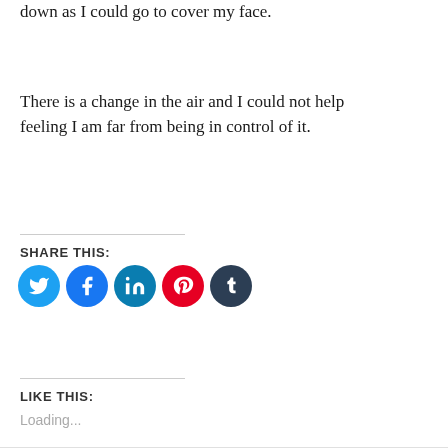down as I could go to cover my face.
There is a change in the air and I could not help feeling I am far from being in control of it.
SHARE THIS:
[Figure (illustration): Five social media share buttons in circular icons: Twitter (light blue), Facebook (blue), LinkedIn (teal blue), Pinterest (red), Tumblr (dark navy)]
LIKE THIS:
Loading...